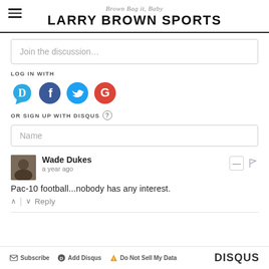Brown Bag it, Baby — LARRY BROWN SPORTS
Join the discussion…
LOG IN WITH
[Figure (infographic): Social login icons: Disqus (blue speech bubble with D), Facebook (dark blue circle with F), Twitter (light blue circle with bird), Google (red circle with G)]
OR SIGN UP WITH DISQUS ?
Name
Wade Dukes
a year ago
Pac-10 football...nobody has any interest.
↑ | ↓ Reply
✉ Subscribe  ⬤ Add Disqus  ⚠ Do Not Sell My Data  DISQUS